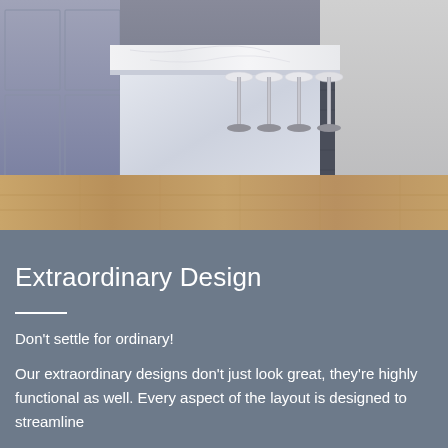[Figure (photo): Interior design photo showing a modern kitchen with a white marble island countertop, bar stools with chrome pedestals, grey cabinetry on the left, and warm wood-tone flooring.]
Extraordinary Design
Don't settle for ordinary!
Our extraordinary designs don't just look great, they're highly functional as well. Every aspect of the layout is designed to streamline